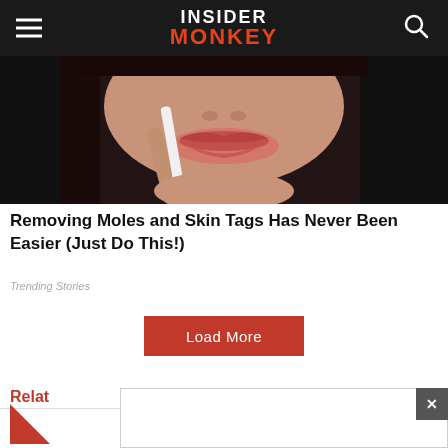INSIDER MONKEY
[Figure (photo): Close-up photo of a woman's lower face and hand holding a white item near her lips, dark hair visible, taken against a dark background.]
Removing Moles and Skin Tags Has Never Been Easier (Just Do This!)
Trending Stories
Load More
Related